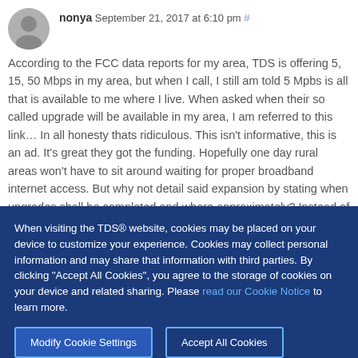nonya September 21, 2017 at 6:10 pm #
According to the FCC data reports for my area, TDS is offering 5, 15, 50 Mbps in my area, but when I call, I still am told 5 Mpbs is all that is available to me where I live. When asked when their so called upgrade will be available in my area, I am referred to this link… In all honesty thats ridiculous. This isn't informative, this is an ad. It's great they got the funding. Hopefully one day rural areas won't have to sit around waiting for proper broadband internet access. But why not detail said expansion by stating when upgrades shall be completed and where approximately? Instead of referring to the FCC, which as I stated, is already saying its available.
When visiting the TDS® website, cookies may be placed on your device to customize your experience. Cookies may collect personal information and may share that information with third parties. By clicking "Accept All Cookies", you agree to the storage of cookies on your device and related sharing. Please read our Cookie Notice to learn more.
Modify Cookie Settings
Accept All Cookies